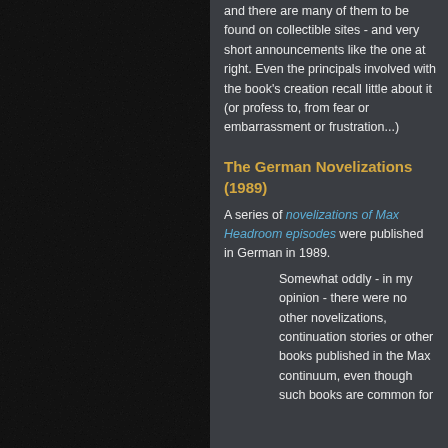[Figure (photo): Dark grainy noise texture background filling the left half of the page]
and there are many of them to be found on collectible sites - and very short announcements like the one at right. Even the principals involved with the book's creation recall little about it (or profess to, from fear or embarrassment or frustration...)
The German Novelizations (1989)
A series of novelizations of Max Headroom episodes were published in German in 1989.
Somewhat oddly - in my opinion - there were no other novelizations, continuation stories or other books published in the Max continuum, even though such books are common for